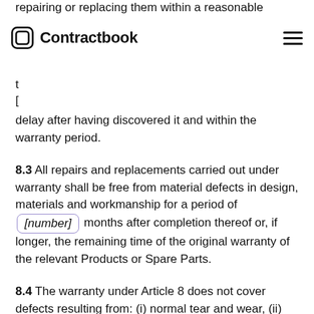repairing or replacing them within a reasonable
Contractbook
delay after having discovered it and within the warranty period.
8.3 All repairs and replacements carried out under warranty shall be free from material defects in design, materials and workmanship for a period of [number] months after completion thereof or, if longer, the remaining time of the original warranty of the relevant Products or Spare Parts.
8.4 The warranty under Article 8 does not cover defects resulting from: (i) normal tear and wear, (ii) accident or other external cause, (iii) incorrect storage, installation, service, maintenance or use, or (iv) repairs or alteration not approved by the Supplier.